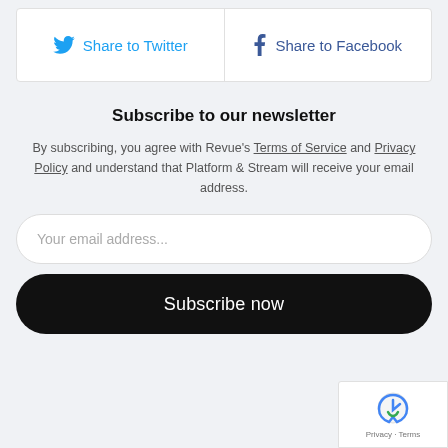[Figure (other): Social sharing buttons row with Twitter and Facebook icons]
Subscribe to our newsletter
By subscribing, you agree with Revue's Terms of Service and Privacy Policy and understand that Platform & Stream will receive your email address.
Your email address...
Subscribe now
[Figure (other): reCAPTCHA badge with Privacy and Terms links]